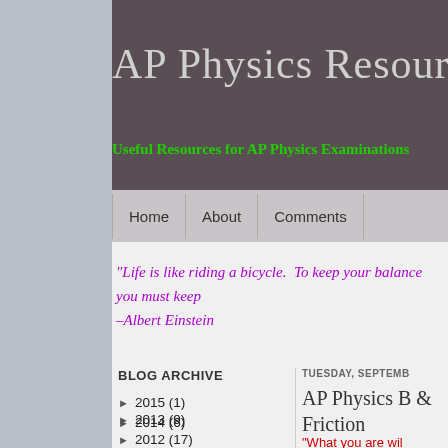AP Physics Resources
Useful Resources for AP Physics Examinations
Home | About | Comments
“Life is like riding a bicycle.  To keep your balance you must keep moving.” –Albert Einstein
BLOG ARCHIVE
2015 (1)
2014 (6)
2013 (9)
2012 (17)
TUESDAY, SEPTEMB...
AP Physics B &
Friction
"What you are wil...